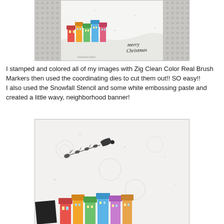[Figure (photo): A handmade Christmas card featuring colorful illustrated buildings/houses on a wavy snowy banner with 'merry Christmas' text, on a white speckled background with grey polka dot borders on sides.]
I stamped and colored all of my images with Zig Clean Color Real Brush Markers then used the coordinating dies to cut them out!! SO easy!! I also used the Snowfall Stencil and some white embossing paste and created a little wavy, neighborhood banner!
[Figure (photo): A close-up photo of a handmade Christmas card showing a Santa sleigh silhouette flying across a white speckled background above colorful illustrated buildings/houses along the bottom edge.]